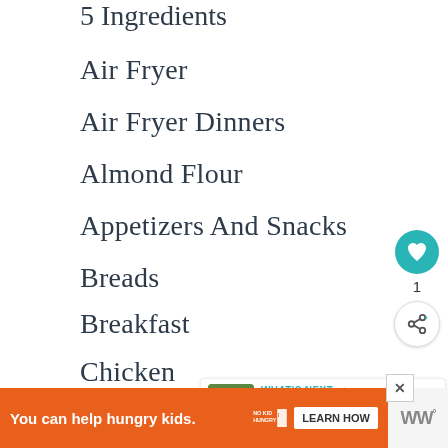5 Ingredients
Air Fryer
Air Fryer Dinners
Almond Flour
Appetizers And Snacks
Breads
Breakfast
Chicken
Christmas
Cookies
[Figure (other): Teal heart favorite button with count of 1 and share button below]
[Figure (other): What's Next widget showing Banana Spinach... with thumbnail of green smoothie]
[Figure (other): Advertisement banner: You can help hungry kids. No Kid Hungry. LEARN HOW button. WW logo.]